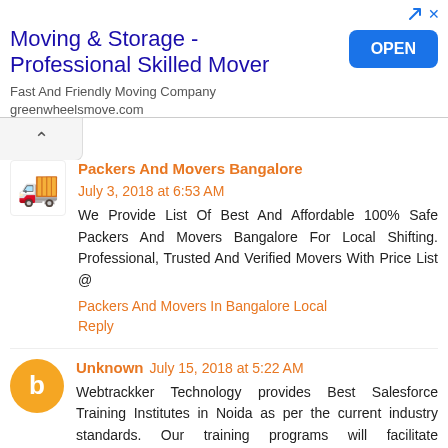[Figure (infographic): Advertisement banner for Moving & Storage - Professional Skilled Mover. Shows title text, description 'Fast And Friendly Moving Company greenwheelsmove.com', and a blue OPEN button. Decorative ad icons top right.]
Packers And Movers Bangalore July 3, 2018 at 6:53 AM
We Provide List Of Best And Affordable 100% Safe Packers And Movers Bangalore For Local Shifting. Professional, Trusted And Verified Movers With Price List @
Packers And Movers In Bangalore Local
Reply
Unknown July 15, 2018 at 5:22 AM
Webtrackker Technology provides Best Salesforce Training Institutes in Noida as per the current industry standards. Our training programs will facilitate professionals to secure placements in MNCs.